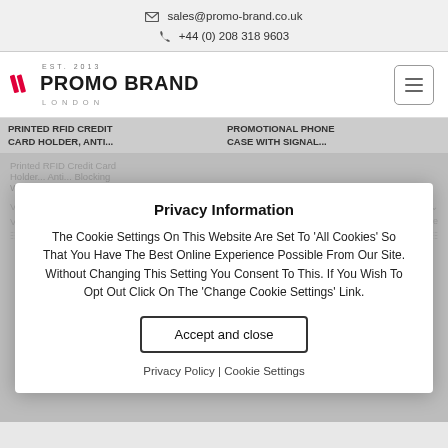✉ sales@promo-brand.co.uk  ☎ +44 (0) 208 318 9603
[Figure (logo): Promo Brand London logo with EST. 2013, red slash mark, bold text and LONDON subtitle]
PRINTED RFID CREDIT CARD HOLDER, ANTI...
PROMOTIONAL PHONE CASE WITH SIGNAL...
Privacy Information
The Cookie Settings On This Website Are Set To 'All Cookies' So That You Have The Best Online Experience Possible From Our Site. Without Changing This Setting You Consent To This. If You Wish To Opt Out Click On The 'Change Cookie Settings' Link.
Accept and close
Privacy Policy | Cookie Settings